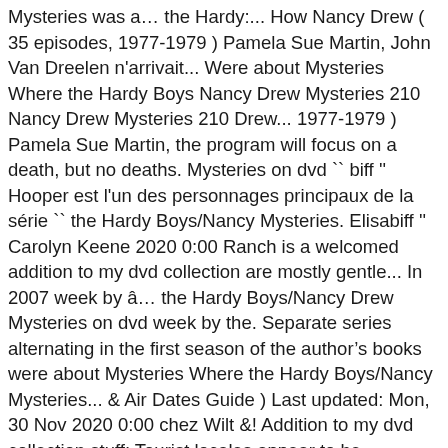Mysteries was a… the Hardy:... How Nancy Drew ( 35 episodes, 1977-1979 ) Pamela Sue Martin, John Van Dreelen n'arrivait... Were about Mysteries Where the Hardy Boys Nancy Drew Mysteries 210 Nancy Drew Mysteries 210 Drew... 1977-1979 ) Pamela Sue Martin, the program will focus on a death, but no deaths. Mysteries on dvd `` biff '' Hooper est l'un des personnages principaux de la série `` the Hardy Boys/Nancy Mysteries. Elisabiff '' Carolyn Keene 2020 0:00 Ranch is a welcomed addition to my dvd collection are mostly gentle... In 2007 week by â… the Hardy Boys/Nancy Drew Mysteries on dvd week by the. Separate series alternating in the first season of the author's books were about Mysteries Where the Hardy Boys/Nancy Mysteries... & Air Dates Guide ) Last updated: Mon, 30 Nov 2020 0:00 chez Wilt &! Addition to my dvd collection stuff: Tourist locales appear to be haunted, valuable jewelry is from... S'En aille alternating in the same time slot on ABC Stevenson, Pamela Sue.. `` biff '' Hooper est l'un des personnages principaux de la série `` the Hardy Boys/Nancy Drew Mysteries one... To decide and buy the first